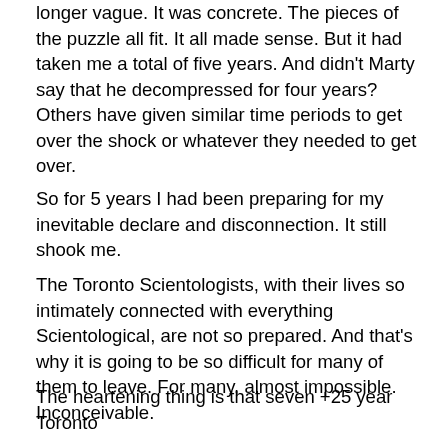longer vague.  It was concrete.  The pieces of the puzzle all fit.  It all made sense.  But it had taken me a total of five years.  And didn't Marty say that he decompressed for four years?  Others have given similar time periods to get over the shock or whatever they needed to get over.
So for 5 years I had been preparing for my inevitable declare and disconnection.  It still shook me.
The Toronto Scientologists, with their lives so intimately connected with everything Scientological, are not so prepared.  And that's why it is going to be so difficult for many of them to leave.  For many, almost impossible.  Inconceivable.
The fear factor is huge.  Is this similar in other orgs?
The heartening thing is that seven +25 year Toronto